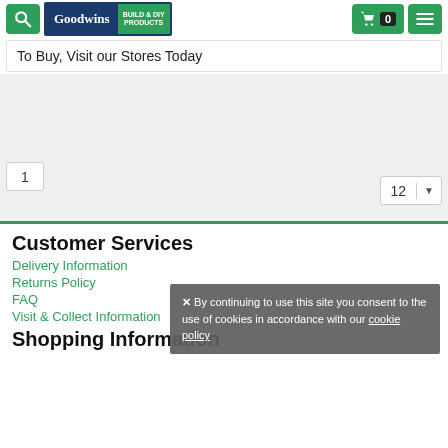Goodwins BUILD & DIY PRODUCTS
To Buy, Visit our Stores Today
1
12
Customer Services
Delivery Information
Returns Policy
FAQ
Visit & Collect Information
Shopping Information
✕ By continuing to use this site you consent to the use of cookies in accordance with our cookie policy